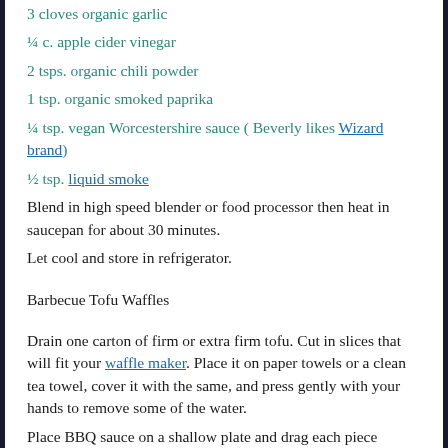3 cloves organic garlic
¼ c. apple cider vinegar
2 tsps. organic chili powder
1 tsp. organic smoked paprika
¼ tsp. vegan Worcestershire sauce ( Beverly likes Wizard brand)
½ tsp. liquid smoke
Blend in high speed blender or food processor then heat in saucepan for about 30 minutes.
Let cool and store in refrigerator.
Barbecue Tofu Waffles
Drain one carton of firm or extra firm tofu. Cut in slices that will fit your waffle maker. Place it on paper towels or a clean tea towel, cover it with the same, and press gently with your hands to remove some of the water.
Place BBQ sauce on a shallow plate and drag each piece